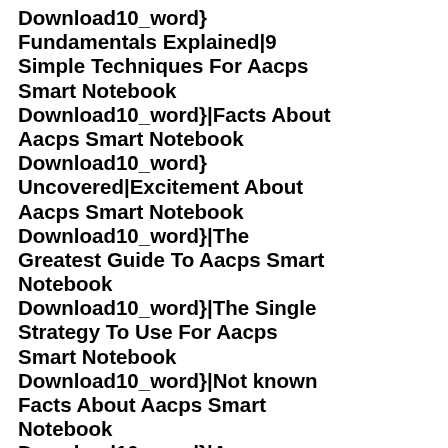Download10_word} Fundamentals Explained|9 Simple Techniques For Aacps Smart Notebook Download10_word}|Facts About Aacps Smart Notebook Download10_word} Uncovered|Excitement About Aacps Smart Notebook Download10_word}|The Greatest Guide To Aacps Smart Notebook Download10_word}|The Single Strategy To Use For Aacps Smart Notebook Download10_word}|Not known Facts About Aacps Smart Notebook Download10_word}|Aacps Smart Notebook Download10_word} Can Be Fun